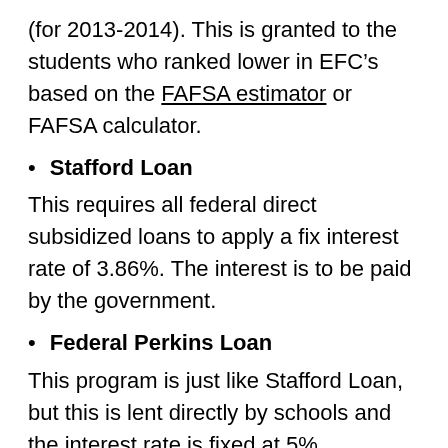(for 2013-2014). This is granted to the students who ranked lower in EFC’s based on the FAFSA estimator or FAFSA calculator.
Stafford Loan
This requires all federal direct subsidized loans to apply a fix interest rate of 3.86%. The interest is to be paid by the government.
Federal Perkins Loan
This program is just like Stafford Loan, but this is lent directly by schools and the interest rate is fixed at 5%...